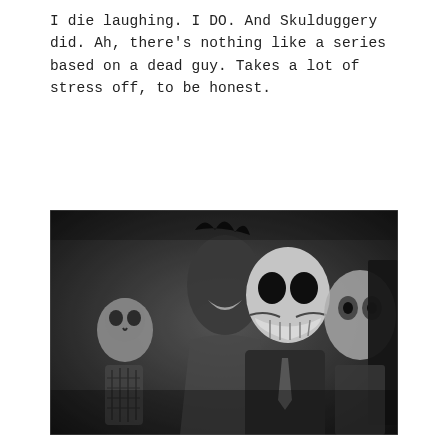I die laughing. I DO. And Skulduggery did. Ah, there's nothing like a series based on a dead guy. Takes a lot of stress off, to be honest.
[Figure (photo): A black and white still image showing animated skeleton and monster characters, including a grinning skull-faced figure in a suit with a tie, surrounded by other eerie characters in a dark setting.]